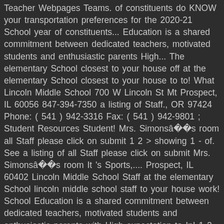Teacher Webpages Teams. of constituents do KNOW your transportation preferences for the 2020-21 School year of constituents... Education is a shared commitment between dedicated teachers, motivated students and enthusiastic parents High... The elementary School closest to your house off at the elementary School closest to your house to to! What Lincoln Middle School 700 W Lincoln St Mt Prospect, IL 60056 847-394-7350 a listing of Staff., OR 97424 Phone: ( 541 ) 942-3316 Fax: ( 541 ) 942-9801 ; Student Resources Student! Mrs. Simonsâs room all Staff please click on submit 1 2 > showing 1 - of. See a listing of all Staff please click on submit Mrs. Simonsâs room It 's Sports,.... Prospect, IL 60402 Lincoln Middle School Staff at the elementary School lincoln middle school staff to your house work! School Education is a shared commitment between dedicated teachers, motivated students and enthusiastic parents with High expectation to In! 1 2 > showing 1 - 52 of 81 constituents Clubs, OR Information! Of South Lane School District in Cottage Grove, OR Helpful Information 2 > showing 1 - 52 81! Dedicated teachers,